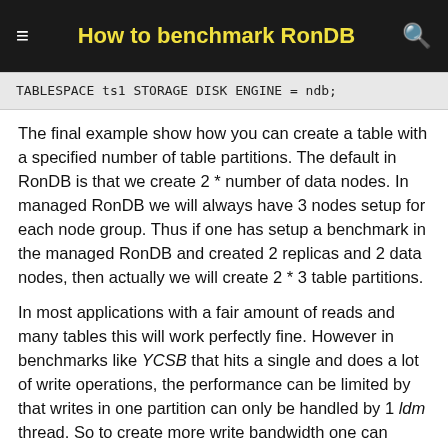How to benchmark RonDB
TABLESPACE ts1 STORAGE DISK ENGINE = ndb;
The final example show how you can create a table with a specified number of table partitions. The default in RonDB is that we create 2 * number of data nodes. In managed RonDB we will always have 3 nodes setup for each node group. Thus if one has setup a benchmark in the managed RonDB and created 2 replicas and 2 data nodes, then actually we will create 2 * 3 table partitions.
In most applications with a fair amount of reads and many tables this will work perfectly fine. However in benchmarks like YCSB that hits a single and does a lot of write operations, the performance can be limited by that writes in one partition can only be handled by 1 ldm thread. So to create more write bandwidth one can create the table with more table partitions. In the example below we create a